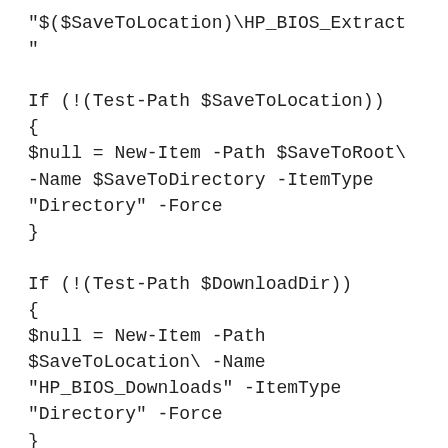"$($SaveToLocation)\HP_BIOS_Extract"

If (!(Test-Path $SaveToLocation))
{
$null = New-Item -Path $SaveToRoot\
-Name $SaveToDirectory -ItemType
"Directory" -Force
}

If (!(Test-Path $DownloadDir))
{
$null = New-Item -Path
$SaveToLocation\ -Name
"HP_BIOS_Downloads" -ItemType
"Directory" -Force
}